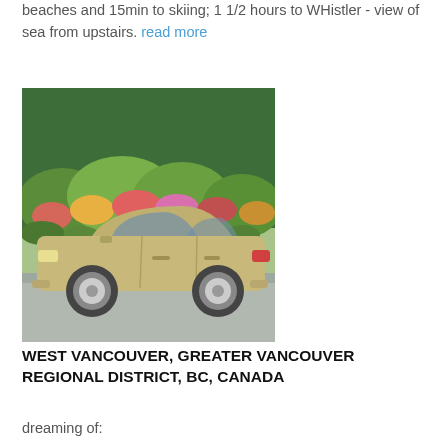beaches and 15min to skiing; 1 1/2 hours to WHistler - view of sea from upstairs. read more
[Figure (photo): A gold/champagne colored sedan car parked in front of lush green trees and colorful flowering shrubs]
WEST VANCOUVER, GREATER VANCOUVER REGIONAL DISTRICT, BC, CANADA
dreaming of: